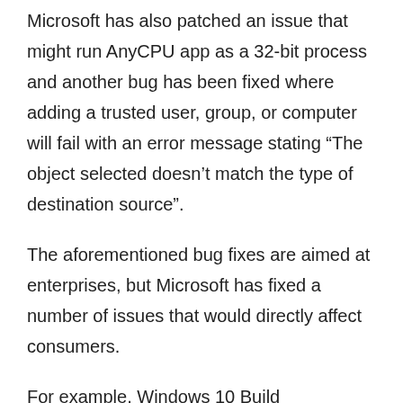Microsoft has also patched an issue that might run AnyCPU app as a 32-bit process and another bug has been fixed where adding a trusted user, group, or computer will fail with an error message stating “The object selected doesn’t match the type of destination source”.
The aforementioned bug fixes are aimed at enterprises, but Microsoft has fixed a number of issues that would directly affect consumers.
For example, Windows 10 Build 19044.1741 has fixed an issue that causes file copying to be slower than usual. Copying files between partitions or drives is